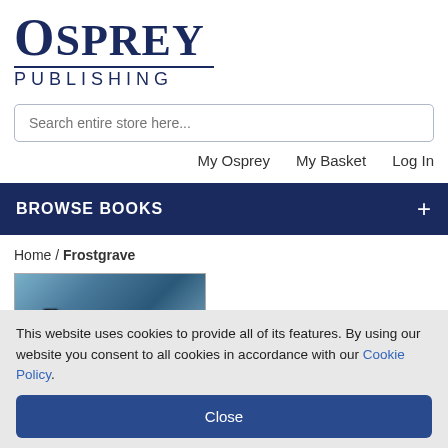[Figure (logo): Osprey Publishing logo with large serif text 'OSPREY' above a horizontal rule and 'PUBLISHING' in spaced sans-serif below]
Search entire store here...
My Osprey   My Basket   Log In
BROWSE BOOKS
Home / Frostgrave
[Figure (photo): Frostgrave book series banner image with stylized icy blue background and ornate fantasy lettering reading 'FROSTGRAVE']
This website uses cookies to provide all of its features. By using our website you consent to all cookies in accordance with our Cookie Policy.
Close